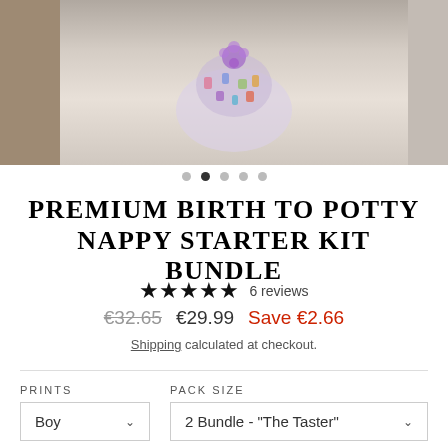[Figure (photo): Product photo strip showing a cloth nappy/diaper with colorful crystal print, displayed on a wooden surface background. Shows partial left and right edge of adjacent product images.]
PREMIUM BIRTH TO POTTY NAPPY STARTER KIT BUNDLE
★★★★★ 6 reviews
€32.65  €29.99  Save €2.66
Shipping calculated at checkout.
PRINTS
Boy
PACK SIZE
2 Bundle - "The Taster"